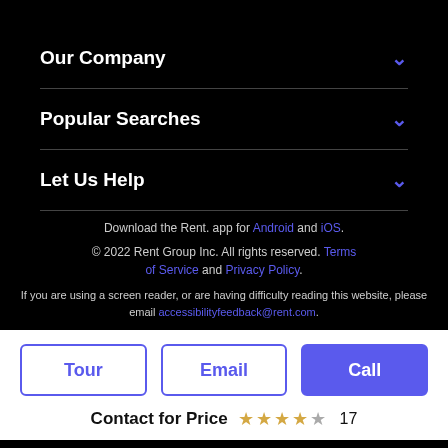Our Company
Popular Searches
Let Us Help
Download the Rent. app for Android and iOS.
© 2022 Rent Group Inc. All rights reserved. Terms of Service and Privacy Policy.
If you are using a screen reader, or are having difficulty reading this website, please email accessibilityfeedback@rent.com.
Tour
Email
Call
Contact for Price  17